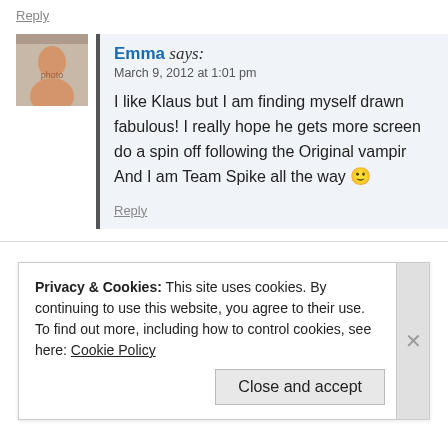Reply
Emma says:
March 9, 2012 at 1:01 pm

I like Klaus but I am finding myself drawn fabulous! I really hope he gets more screen do a spin off following the Original vampir And I am Team Spike all the way :)
Reply
Privacy & Cookies: This site uses cookies. By continuing to use this website, you agree to their use.
To find out more, including how to control cookies, see here: Cookie Policy
Close and accept